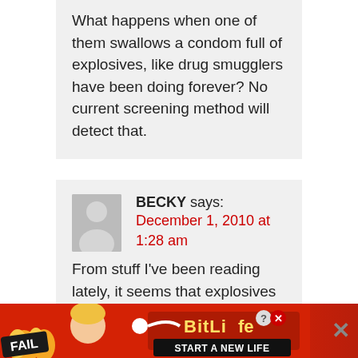What happens when one of them swallows a condom full of explosives, like drug smugglers have been doing forever? No current screening method will detect that.
BECKY says:
December 1, 2010 at 1:28 am
From stuff I've been reading lately, it seems that explosives small enough to be contained in a rectal bomb would not do enough damage to
[Figure (screenshot): BitLife advertisement banner at bottom of page with 'FAIL' text, animated character, and 'START A NEW LIFE' tagline]